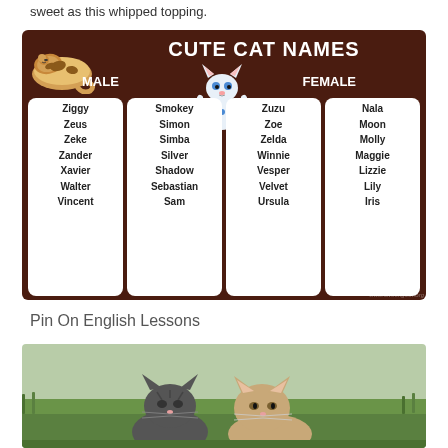sweet as this whipped topping.
[Figure (infographic): Cute Cat Names infographic with dark brown background showing two columns each for male and female cat names. Male names: Ziggy, Zeus, Zeke, Zander, Xavier, Walter, Vincent, Smokey, Simon, Simba, Silver, Shadow, Sebastian, Sam. Female names: Zuzu, Zoe, Zelda, Winnie, Vesper, Velvet, Ursula, Nala, Moon, Molly, Maggie, Lizzie, Lily, Iris. Decorated with cartoon cat illustrations.]
Pin On English Lessons
[Figure (photo): Two kittens close together outdoors on green grass, one dark/grey striped and one light/cream colored, both young.]